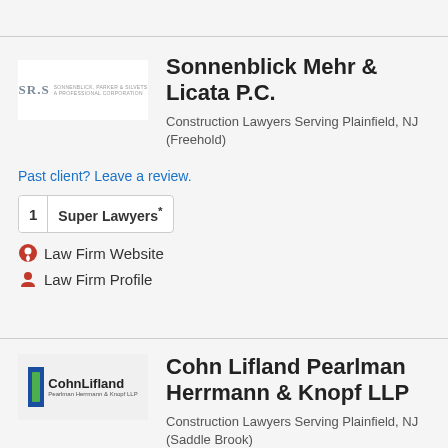[Figure (logo): SRS Sonnenblick Parker & Silvets law firm logo]
Sonnenblick Mehr & Licata P.C.
Construction Lawyers Serving Plainfield, NJ (Freehold)
Past client? Leave a review.
1  Super Lawyers*
Law Firm Website
Law Firm Profile
[Figure (logo): Cohn Lifland Pearlman Herrmann & Knopf LLP logo]
Cohn Lifland Pearlman Herrmann & Knopf LLP
Construction Lawyers Serving Plainfield, NJ (Saddle Brook)